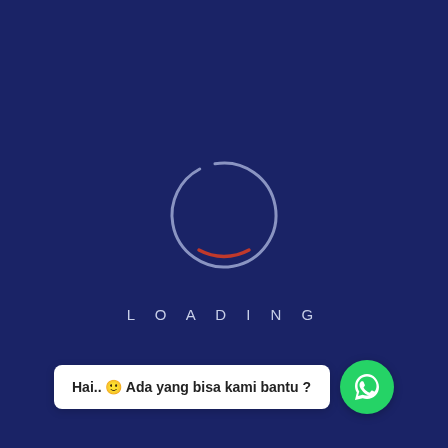[Figure (illustration): A loading spinner circle with a dark blue background. The circle ring is light blue/grey with a red-orange arc at the bottom, indicating a loading animation.]
L O A D I N G
Hai.. 🙂 Ada yang bisa kami bantu ?